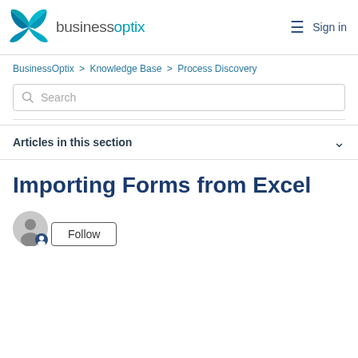businessoptix  Sign in
BusinessOptix > Knowledge Base > Process Discovery
Search
Articles in this section
Importing Forms from Excel
Follow